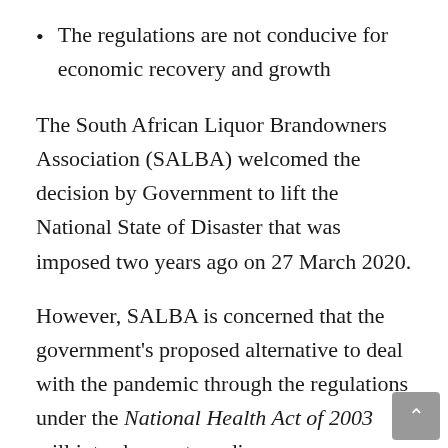The regulations are not conducive for economic recovery and growth
The South African Liquor Brandowners Association (SALBA) welcomed the decision by Government to lift the National State of Disaster that was imposed two years ago on 27 March 2020.
However, SALBA is concerned that the government's proposed alternative to deal with the pandemic through the regulations under the National Health Act of 2003 will introduce extraordinary